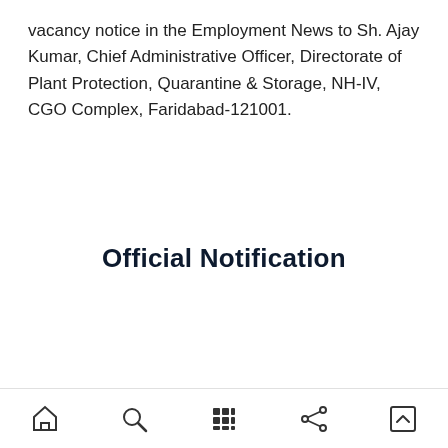vacancy notice in the Employment News to Sh. Ajay Kumar, Chief Administrative Officer, Directorate of Plant Protection, Quarantine & Storage, NH-IV, CGO Complex, Faridabad-121001.
Official Notification
[Figure (other): Mobile app bottom navigation bar with icons: home, search, grid/apps, share, and scroll-to-top]